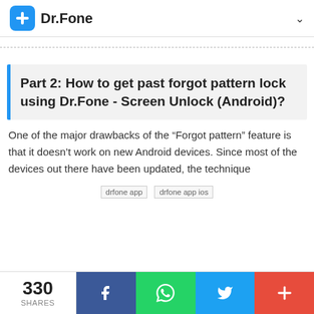Dr.Fone
Part 2: How to get past forgot pattern lock using Dr.Fone - Screen Unlock (Android)?
One of the major drawbacks of the “Forgot pattern” feature is that it doesn’t work on new Android devices. Since most of the devices out there have been updated, the technique
[Figure (other): drfone app and drfone app ios banner images]
330 SHARES | Facebook | WhatsApp | Twitter | More